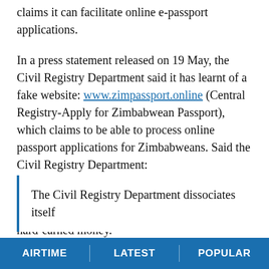claims it can facilitate online e-passport applications.
In a press statement released on 19 May, the Civil Registry Department said it has learnt of a fake website: www.zimpassport.online (Central Registry-Apply for Zimbabwean Passport), which claims to be able to process online passport applications for Zimbabweans. Said the Civil Registry Department:
The account is misrepresented as the official account and used to swindle applicants of their hard-earned money.
The Civil Registry Department dissociates itself
AIRTIME | LATEST | POPULAR